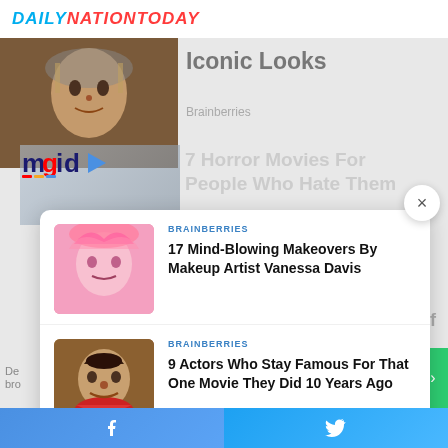DAILYNATIONTODAY
Iconic Looks
Brainberries
[Figure (logo): mgid logo with play button icon]
7 Horror Movies For People Who Hate Them
BRAINBERRIES
17 Mind-Blowing Makeovers By Makeup Artist Vanessa Davis
[Figure (photo): Person with elaborate pink feathered headdress]
BRAINBERRIES
9 Actors Who Stay Famous For That One Movie They Did 10 Years Ago
[Figure (photo): Actor in colorful costume making an expressive face]